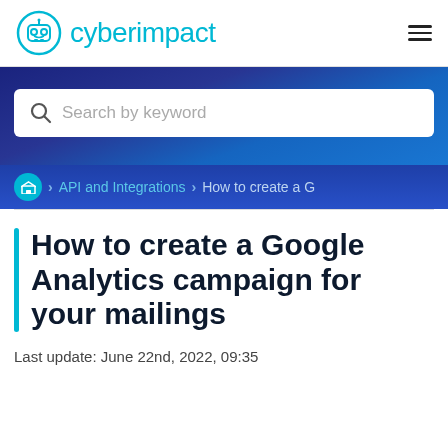cyberimpact
[Figure (screenshot): Search banner with dark blue gradient background and a white search box containing a magnifying glass icon and placeholder text 'Search by keyword']
Home > API and Integrations > How to create a G
How to create a Google Analytics campaign for your mailings
Last update: June 22nd, 2022, 09:35